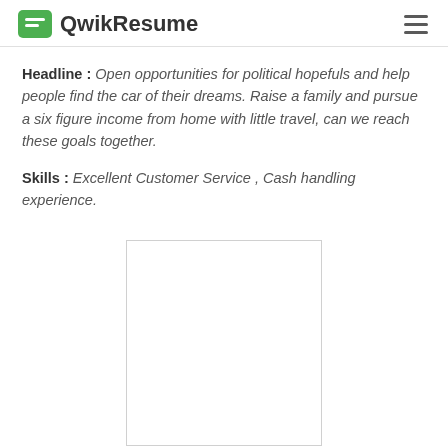QwikResume
Headline : Open opportunities for political hopefuls and help people find the car of their dreams. Raise a family and pursue a six figure income from home with little travel, can we reach these goals together.
Skills : Excellent Customer Service , Cash handling experience.
[Figure (other): Blank white resume preview rectangle with light gray border]